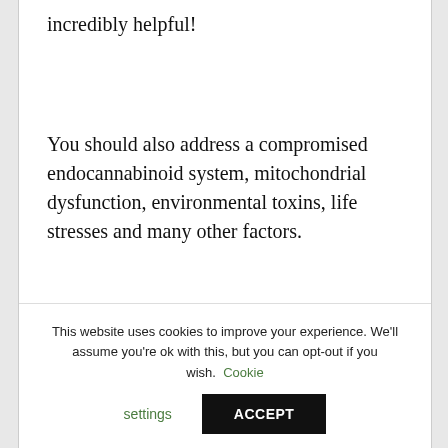incredibly helpful!
You should also address a compromised endocannabinoid system, mitochondrial dysfunction, environmental toxins, life stresses and many other factors.
Figuring out and addressing the above root causes can take time and, while all the above is being investigated and addressed, amino acids can offer quick relief from anxiety (and give
This website uses cookies to improve your experience. We'll assume you're ok with this, but you can opt-out if you wish. Cookie settings ACCEPT